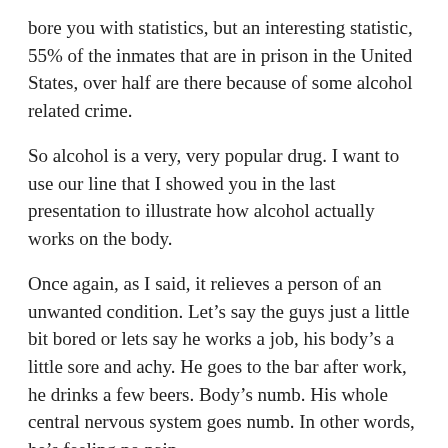bore you with statistics, but an interesting statistic, 55% of the inmates that are in prison in the United States, over half are there because of some alcohol related crime.
So alcohol is a very, very popular drug. I want to use our line that I showed you in the last presentation to illustrate how alcohol actually works on the body.
Once again, as I said, it relieves a person of an unwanted condition. Let’s say the guys just a little bit bored or lets say he works a job, his body’s a little sore and achy. He goes to the bar after work, he drinks a few beers. Body’s numb. His whole central nervous system goes numb. In other words, he’s feeling no pain.
He starts laughing, he’s having a good time for a little